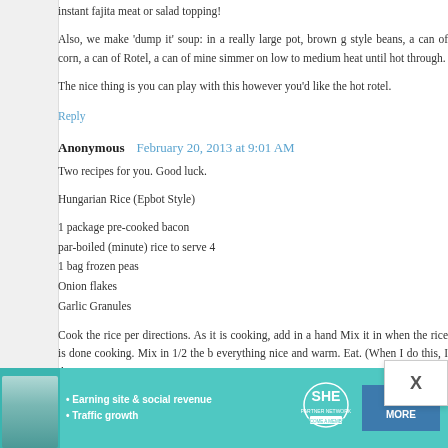instant fajita meat or salad topping!
Also, we make 'dump it' soup: in a really large pot, brown g style beans, a can of corn, a can of Rotel, a can of mine simmer on low to medium heat until hot through.
The nice thing is you can play with this however you'd like the hot rotel.
Reply
Anonymous  February 20, 2013 at 9:01 AM
Two recipes for you. Good luck.
Hungarian Rice (Epbot Style)
1 package pre-cooked bacon
par-boiled (minute) rice to serve 4
1 bag frozen peas
Onion flakes
Garlic Granules
Cook the rice per directions. As it is cooking, add in a hand Mix it in when the rice is done cooking. Mix in 1/2 the b everything nice and warm. Eat. (When I do this, I do it
[Figure (infographic): SHE Partner Network advertisement banner with teal background, woman photo, bullet points for Earning site & social revenue and Traffic growth, SHE logo, and LEARN MORE button]